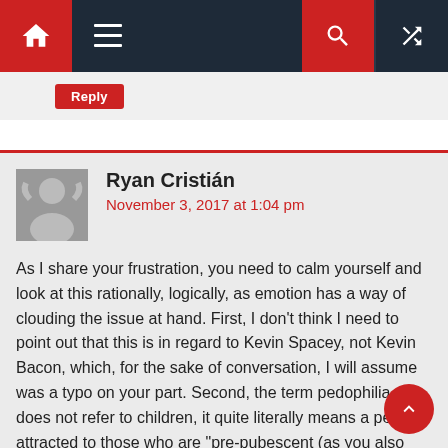Navigation bar with home, menu, search, and random icons
Reply
Ryan Cristián
November 3, 2017 at 1:04 pm
As I share your frustration, you need to calm yourself and look at this rationally, logically, as emotion has a way of clouding the issue at hand. First, I don't think I need to point out that this is in regard to Kevin Spacey, not Kevin Bacon, which, for the sake of conversation, I will assume was a typo on your part. Second, the term pedophilia, does not refer to children, it quite literally means a person attracted to those who are "pre-pubescent" (as you also said at the end of your